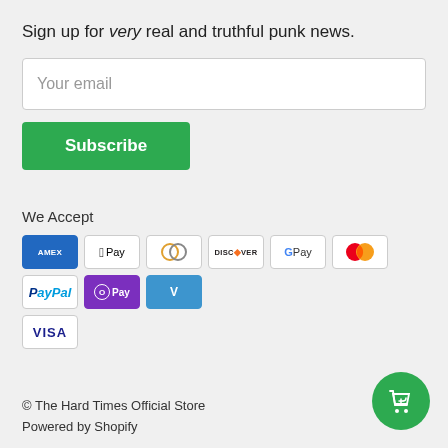Sign up for very real and truthful punk news.
Your email
Subscribe
We Accept
[Figure (other): Payment method icons: American Express, Apple Pay, Diners Club, Discover, Google Pay, Mastercard, PayPal, OPay, Venmo, Visa]
© The Hard Times Official Store
Powered by Shopify